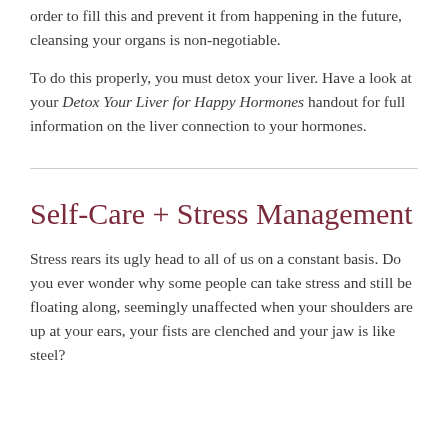order to fill this and prevent it from happening in the future, cleansing your organs is non-negotiable.
To do this properly, you must detox your liver. Have a look at your Detox Your Liver for Happy Hormones handout for full information on the liver connection to your hormones.
Self-Care + Stress Management
Stress rears its ugly head to all of us on a constant basis. Do you ever wonder why some people can take stress and still be floating along, seemingly unaffected when your shoulders are up at your ears, your fists are clenched and your jaw is like steel?